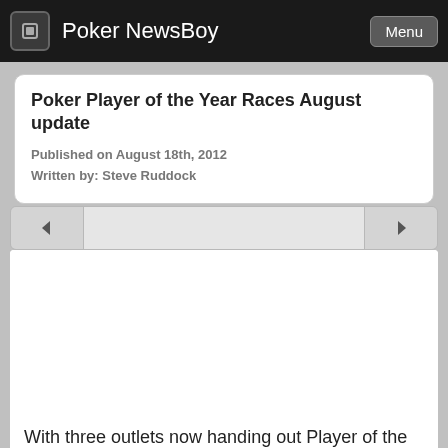Poker NewsBoy
Poker Player of the Year Races August update
Published on August 18th, 2012
Written by: Steve Ruddock
[Figure (screenshot): Navigation arrows bar with left and right arrow buttons and a gray track in between]
[Figure (photo): White image area placeholder for article image]
With three outlets now handing out Player of the Year awards, tournament poker players have even more opportunities to promote themselves within the poker world, and should a player manage to capture two, or possibly all three Player of the Year awards, they would surely become one of the most marketable